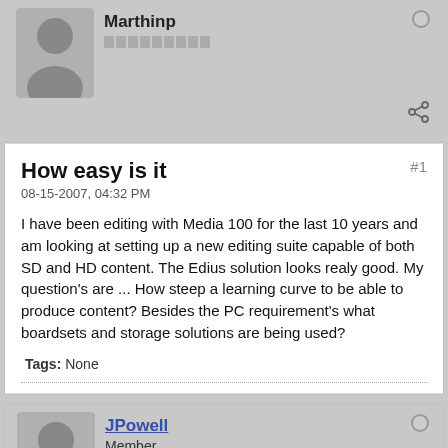[Figure (illustration): Grey silhouette avatar of a person, user Marthinp]
Marthinp
How easy is it
08-15-2007, 04:32 PM
I have been editing with Media 100 for the last 10 years and am looking at setting up a new editing suite capable of both SD and HD content. The Edius solution looks realy good. My question's are ... How steep a learning curve to be able to produce content? Besides the PC requirement's what boardsets and storage solutions are being used?
Tags: None
[Figure (illustration): Grey silhouette avatar of a person, user JPowell]
JPowell
Member
Join Date: May 2007   Posts: 48
08-15-2007, 05:23 PM